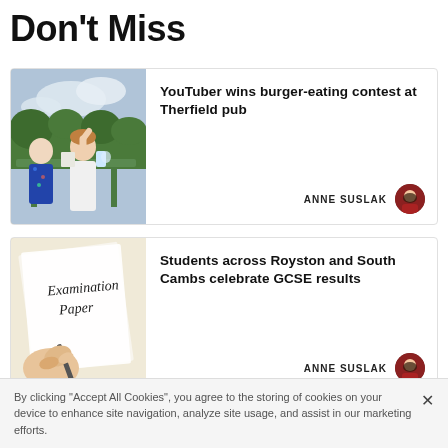Don't Miss
[Figure (photo): Photo of people at an outdoor pub table eating burgers, with someone tilting head back eating]
YouTuber wins burger-eating contest at Therfield pub
ANNE SUSLAK
[Figure (photo): Photo of a hand writing on an Examination Paper]
Students across Royston and South Cambs celebrate GCSE results
ANNE SUSLAK
[Figure (photo): Partial view of a third article card image, mostly obscured]
By clicking “Accept All Cookies”, you agree to the storing of cookies on your device to enhance site navigation, analyze site usage, and assist in our marketing efforts.